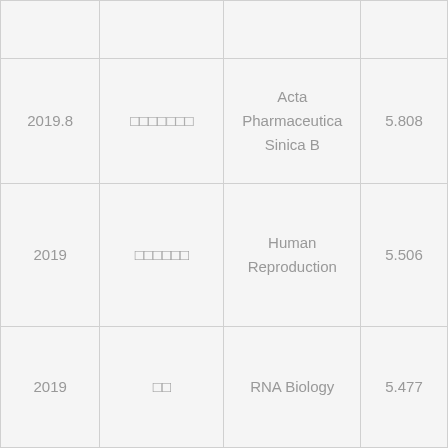| Year | Author | Journal | Impact Factor |
| --- | --- | --- | --- |
|  |  |  |  |
| 2019.8 | □□□□□□□ | Acta Pharmaceutica Sinica B | 5.808 |
| 2019 | □□□□□□ | Human Reproduction | 5.506 |
| 2019 | □□ | RNA Biology | 5.477 |